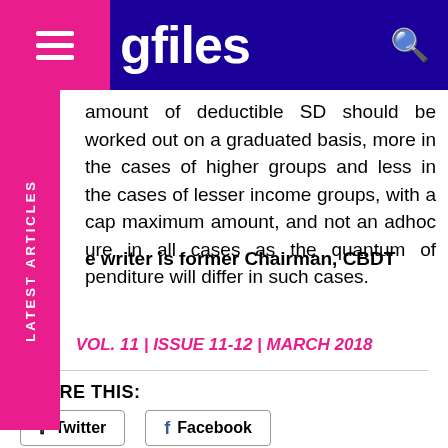gfiles
amount of deductible SD should be worked out on a graduated basis, more in the cases of higher groups and less in the cases of lesser income groups, with a cap maximum amount, and not an adhoc ure in all cases as the quantum of penditure will differ in such cases.
The writer is former Chairman, CBDT
VOL. 11 | ISSUE 11-12 | MARCH 2018
SHARE THIS: